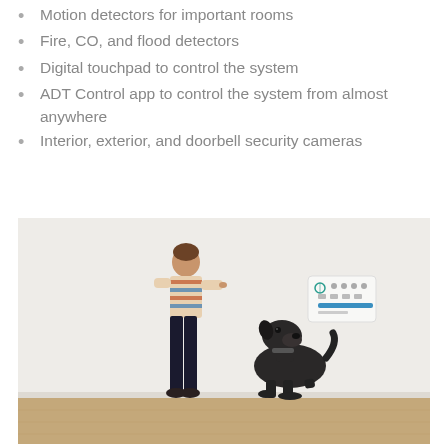Motion detectors for important rooms
Fire, CO, and flood detectors
Digital touchpad to control the system
ADT Control app to control the system from almost anywhere
Interior, exterior, and doorbell security cameras
[Figure (photo): A young boy standing and pointing at a dark-colored dog sitting and looking up at him, with an ADT security keypad mounted on the wall in the background.]